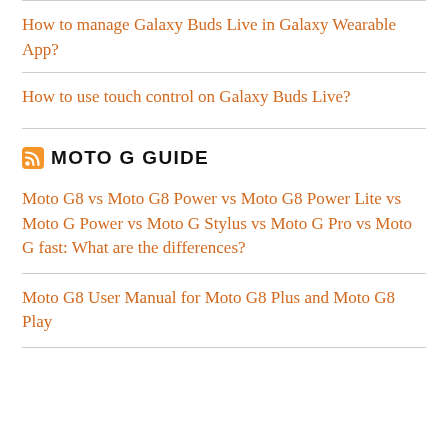How to manage Galaxy Buds Live in Galaxy Wearable App?
How to use touch control on Galaxy Buds Live?
MOTO G GUIDE
Moto G8 vs Moto G8 Power vs Moto G8 Power Lite vs Moto G Power vs Moto G Stylus vs Moto G Pro vs Moto G fast: What are the differences?
Moto G8 User Manual for Moto G8 Plus and Moto G8 Play